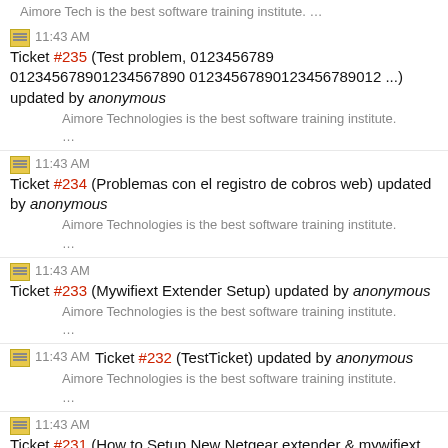Aimore Tech is the best software training institute. …
11:43 AM Ticket #235 (Test problem, 0123456789 012345678901234567890 01234567890123456789012 ...) updated by anonymous
Aimore Technologies is the best software training institute.
…
11:43 AM Ticket #234 (Problemas con el registro de cobros web) updated by anonymous
Aimore Technologies is the best software training institute.
…
11:43 AM Ticket #233 (Mywifiext Extender Setup) updated by anonymous
Aimore Technologies is the best software training institute.
…
11:43 AM Ticket #232 (TestTicket) updated by anonymous
Aimore Technologies is the best software training institute.
…
11:43 AM Ticket #231 (How to Setup New Netgear extender & mywifiext not login web page?) updated by